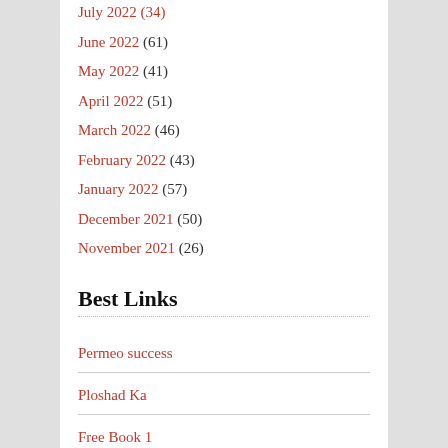July 2022 (34)
June 2022 (61)
May 2022 (41)
April 2022 (51)
March 2022 (46)
February 2022 (43)
January 2022 (57)
December 2021 (50)
November 2021 (26)
Best Links
Permeo success
Ploshad Ka
Free Book 1
Rororo Entertainment